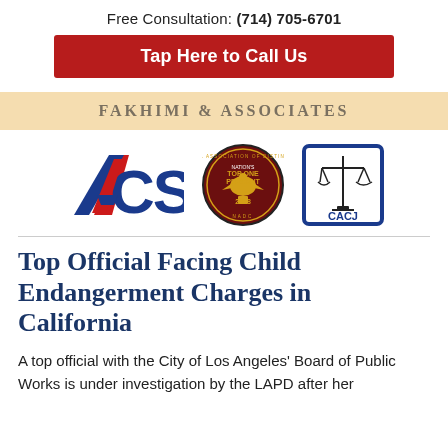Free Consultation: (714) 705-6701
Tap Here to Call Us
FAKHIMI & ASSOCIATES
[Figure (logo): Three logos: ACS (red and blue letters), NADC Nation's Top One Percent 2018 medallion, CACJ (scales of justice in blue border)]
Top Official Facing Child Endangerment Charges in California
A top official with the City of Los Angeles' Board of Public Works is under investigation by the LAPD after her